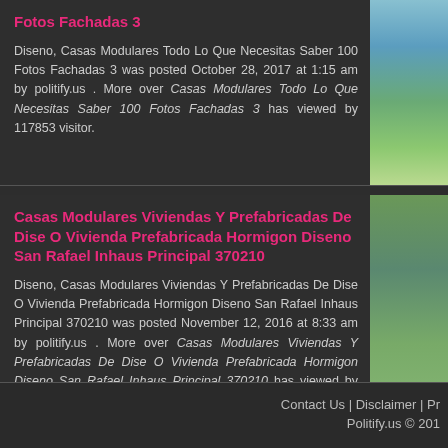Fotos Fachadas 3
Diseno, Casas Modulares Todo Lo Que Necesitas Saber 100 Fotos Fachadas 3 was posted October 28, 2017 at 1:15 am by politify.us . More over Casas Modulares Todo Lo Que Necesitas Saber 100 Fotos Fachadas 3 has viewed by 117853 visitor.
Casas Modulares Viviendas Y Prefabricadas De Dise O Vivienda Prefabricada Hormigon Diseno San Rafael Inhaus Principal 370210
Diseno, Casas Modulares Viviendas Y Prefabricadas De Dise O Vivienda Prefabricada Hormigon Diseno San Rafael Inhaus Principal 370210 was posted November 12, 2016 at 8:33 am by politify.us . More over Casas Modulares Viviendas Y Prefabricadas De Dise O Vivienda Prefabricada Hormigon Diseno San Rafael Inhaus Principal 370210 has viewed by 178368 visitor.
Contact Us | Disclaimer | Pr  Politify.us © 201